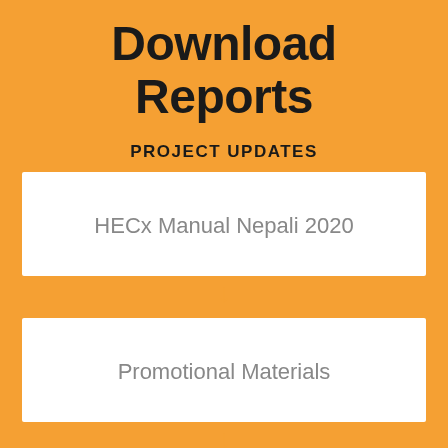Download Reports
PROJECT UPDATES
HECx Manual Nepali 2020
Promotional Materials
May 2020